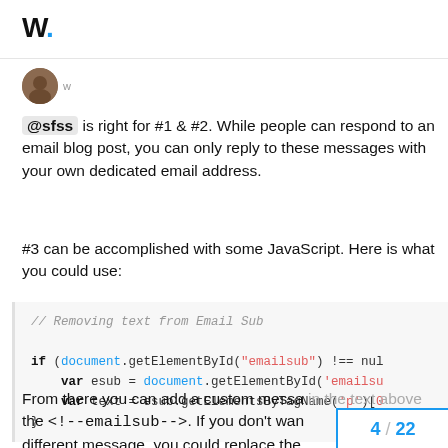W.
[Figure (photo): User avatar with small 'w' label below]
@sfss is right for #1 & #2. While people can respond to an email blog post, you can only reply to these messages with your own dedicated email address.
#3 can be accomplished with some JavaScript. Here is what you could use:
// Removing text from Email Sub

if (document.getElementById("emailsub") !== nul
    var esub = document.getElementById('emailsu
    var text = esub.getElementsByTagName('p')[0
}
From there you can add a custom messa in the text above the <!--emailsub-->. If you don't wan different message, you could replace the
4 / 22